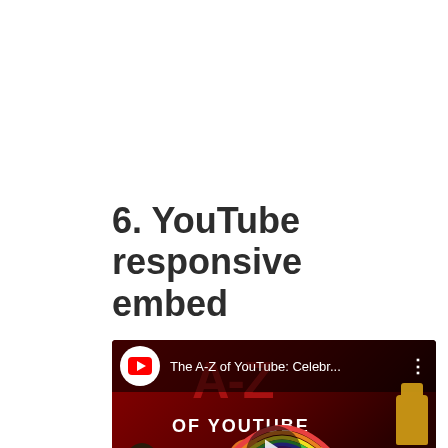6. YouTube responsive embed
[Figure (screenshot): YouTube video embed thumbnail showing 'The A-Z of YouTube: Celebr...' with a red background featuring the A-Z of YouTube graphic, various cartoon character cutouts, and a play button overlay. The top bar shows the YouTube logo icon, video title, and a three-dot menu.]